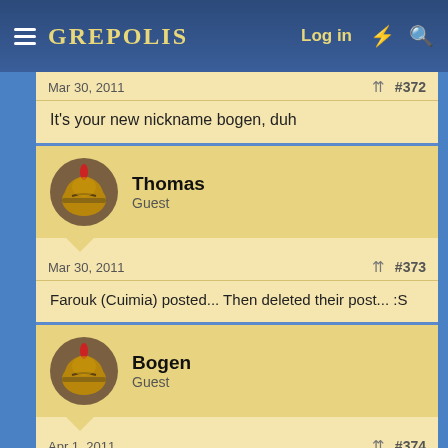GREPOLIS  Log in
Mar 30, 2011  #372
It's your new nickname bogen, duh
Thomas
Guest
Mar 30, 2011  #373
Farouk (Cuimia) posted... Then deleted their post... :S
Bogen
Guest
Apr 1, 2011  #374
theonlythomas said:
Farouk (Cuimia) posted... Then deleted their post... :S